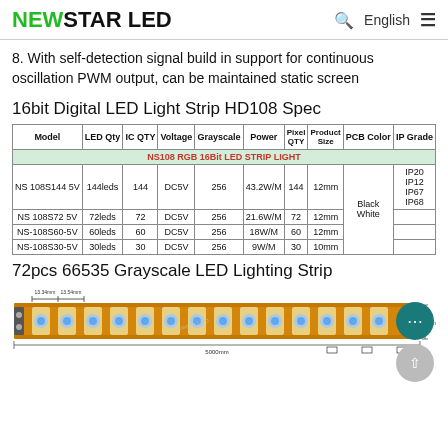NEWSTAR LED   English
8. With self-detection signal build in support for continuous oscillation PWM output, can be maintained static screen
16bit Digital LED Light Strip HD108 Spec
| Model | LED Qty | IC QTY | Voltage | Grayscale | Power | Pixel QTY | Product Size | PCB Color | IP Grade |
| --- | --- | --- | --- | --- | --- | --- | --- | --- | --- |
| NS108 RGB 16Bit LED STRIP LIGHT (colspan 10) |
| NS 108S144 5V | 144leds | 144 | DC5V | 256 | 43.2W/M | 144 | 12mm | Black White | IP20 IP12 IP67 IP68 |
| NS 108S72 5V | 72leds | 72 | DC5V | 256 | 21.6W/M | 72 | 12mm | Black White | IP20 IP12 IP67 IP68 |
| NS-108S60-5V | 60leds | 60 | DC5V | 256 | 18W/M | 60 | 12mm | Black White | IP20 IP12 IP67 IP68 |
| NS-108S30-5V | 30leds | 30 | DC5V | 256 | 9W/M | 30 | 10mm | Black White | IP20 IP12 IP67 IP68 |
72pcs 66535 Grayscale LED Lighting Strip
[Figure (engineering-diagram): LED strip diagram showing 72pcs 66535 Grayscale LED Lighting Strip with measurements: 13.34mm spacing, 13.54mm spacing, total length 5000mm, width 2.5mm. Strip shows multiple LED components arranged linearly.]